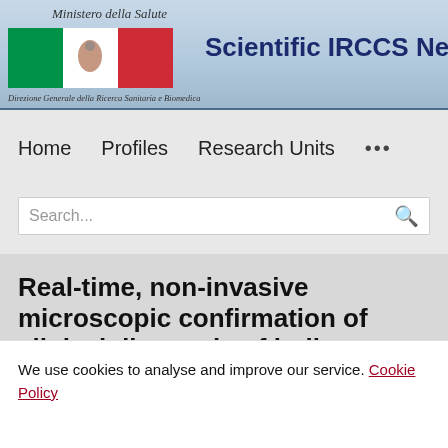Ministero della Salute — Scientific IRCCS Network — Direzione Generale della Ricerca Sanitaria e Biomedica
Home   Profiles   Research Units   ...
Search...
Real-time, non-invasive microscopic confirmation of clinical diagnosis of bullous
We use cookies to analyse and improve our service. Cookie Policy